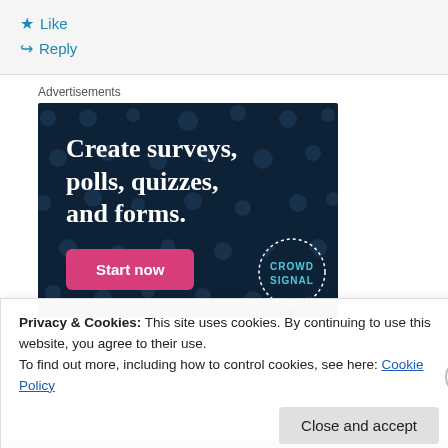★ Like
↪ Reply
Advertisements
[Figure (screenshot): Advertisement banner with dark navy background and dot pattern. Bold white serif text reads 'Create surveys, polls, quizzes, and forms.' with a pink 'Start now' button and a CrowdSignal logo circle in the bottom right.]
Privacy & Cookies: This site uses cookies. By continuing to use this website, you agree to their use.
To find out more, including how to control cookies, see here: Cookie Policy
Close and accept